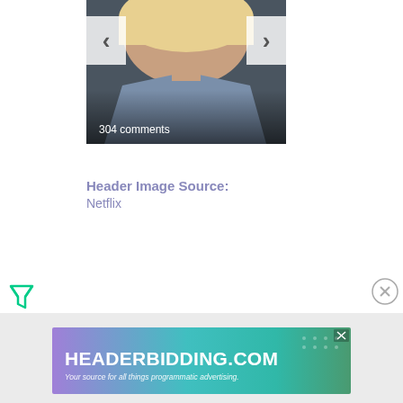[Figure (photo): Screenshot of a webpage showing a photo of a blonde woman in a grey halter-neck top, with navigation arrows (< >) overlaid and '304 comments' text at the bottom of the image]
Header Image Source:
Netflix
[Figure (logo): Green filter/funnel icon (Freestar or similar ad tech logo)]
[Figure (other): Grey circle with X close button]
[Figure (other): Advertisement banner: HEADERBIDDING.COM - Your source for all things programmatic advertising. Purple/teal gradient background.]